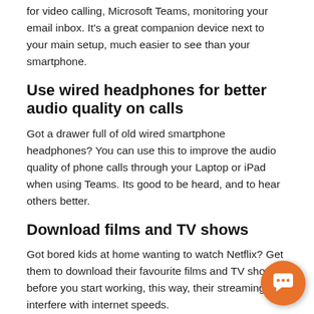for video calling, Microsoft Teams, monitoring your email inbox. It's a great companion device next to your main setup, much easier to see than your smartphone.
Use wired headphones for better audio quality on calls
Got a drawer full of old wired smartphone headphones? You can use this to improve the audio quality of phone calls through your Laptop or iPad when using Teams. Its good to be heard, and to hear others better.
Download films and TV shows
Got bored kids at home wanting to watch Netflix? Get them to download their favourite films and TV shows before you start working, this way, their streaming w... interfere with internet speeds.
Avoid using the microwave